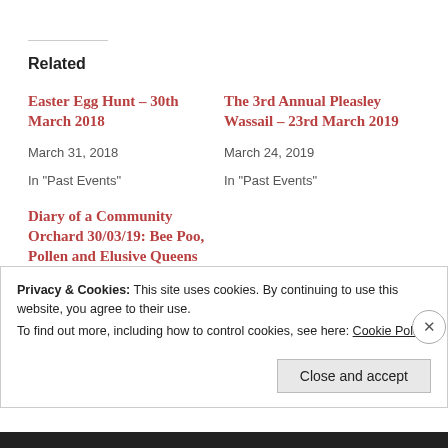Related
Easter Egg Hunt – 30th March 2018
March 31, 2018
In "Past Events"
The 3rd Annual Pleasley Wassail – 23rd March 2019
March 24, 2019
In "Past Events"
Diary of a Community Orchard 30/03/19: Bee Poo, Pollen and Elusive Queens
March 30, 2019
In "Blog"
Privacy & Cookies: This site uses cookies. By continuing to use this website, you agree to their use.
To find out more, including how to control cookies, see here: Cookie Policy
Close and accept